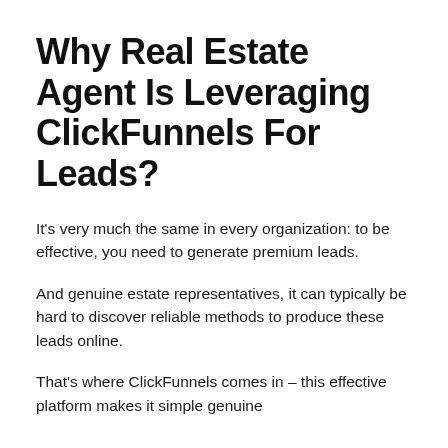Why Real Estate Agent Is Leveraging ClickFunnels For Leads?
It's very much the same in every organization: to be effective, you need to generate premium leads.
And genuine estate representatives, it can typically be hard to discover reliable methods to produce these leads online.
That's where ClickFunnels comes in – this effective platform makes it simple genuine